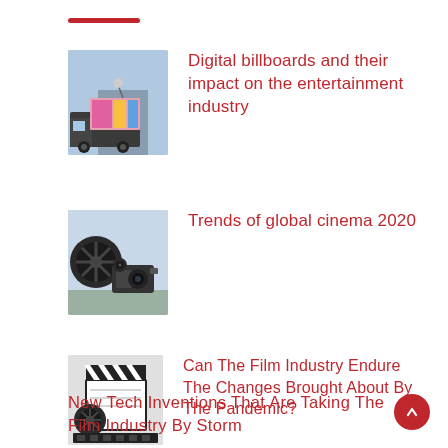[Figure (photo): Truck with a large digital billboard display showing colorful advertisement]
Digital billboards and their impact on the entertainment industry
[Figure (photo): Film camera equipment with large reels outdoors]
Trends of global cinema 2020
[Figure (photo): Film clapperboard with film reels]
Can The Film Industry Endure The Changes Brought About By The Pandemic?
New Tech Inventions That Are Taking The Film Industry By Storm